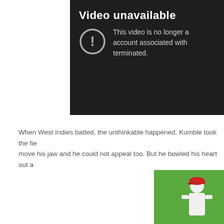[Figure (screenshot): YouTube 'Video unavailable' error screen with dark background, exclamation mark icon in circle, text reading 'Video unavailable' and 'This video is no longer available because the account associated with this video has been terminated.']
When West Indies batted, the unthinkable happened. Kumble took the field with his jaw heavily bandaged and could not move his jaw and he could not appeal too. But he bowled his heart out and...
[Figure (photo): A cricket player wearing a red cap and white uniform seen from behind, standing on a green cricket field.]